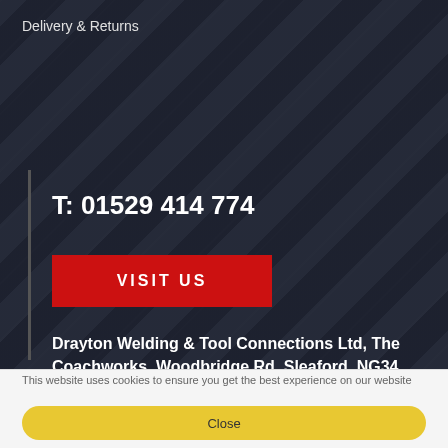Delivery & Returns
T: 01529 414 774
[Figure (other): Red button with text VISIT US]
Drayton Welding & Tool Connections Ltd, The Coachworks, Woodbridge Rd, Sleaford, NG34 7EW
Drayton Welding is one of the Midlands leading welding machines and equipment supplier. We have a huge range of
This website uses cookies to ensure you get the best experience on our website
Close